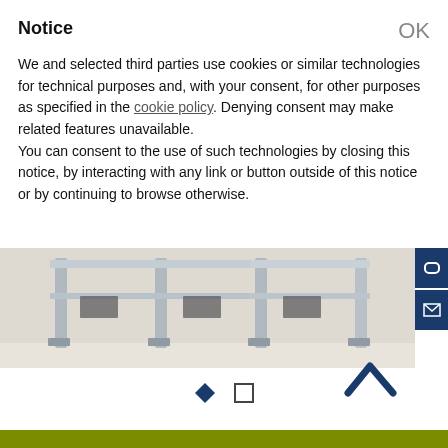Notice
We and selected third parties use cookies or similar technologies for technical purposes and, with your consent, for other purposes as specified in the cookie policy. Denying consent may make related features unavailable.
You can consent to the use of such technologies by closing this notice, by interacting with any link or button outside of this notice or by continuing to browse otherwise.
[Figure (photo): Industrial metal shelving or rack structure with grey steel frames and horizontal bars, viewed from the side, on a light background.]
[Figure (other): Carousel navigation dots: one filled blue diamond and one empty square, indicating slide position.]
[Figure (other): Upward-pointing chevron arrow in dark blue, used as a scroll-to-top button.]